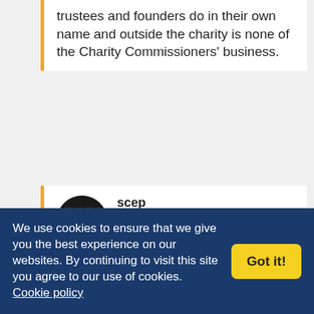trustees and founders do in their own name and outside the charity is none of the Charity Commissioners' business.
[Figure (photo): Circular avatar image of a computer keyboard close-up]
scep
16th January 2012, 12:51 am
I know you mean well, but do you really think that the Foundation have no legal nous, that they just
We use cookies to ensure that we give you the best experience on our websites. By continuing to visit this site you agree to our use of cookies. Cookie policy